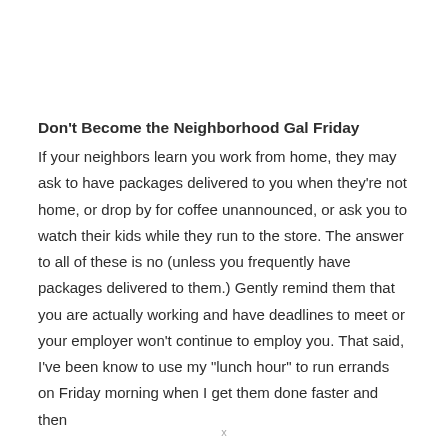Don’t Become the Neighborhood Gal Friday
If your neighbors learn you work from home, they may ask to have packages delivered to you when they’re not home, or drop by for coffee unannounced, or ask you to watch their kids while they run to the store. The answer to all of these is no (unless you frequently have packages delivered to them.) Gently remind them that you are actually working and have deadlines to meet or your employer won’t continue to employ you. That said, I’ve been know to use my “lunch hour” to run errands on Friday morning when I get them done faster and then
x